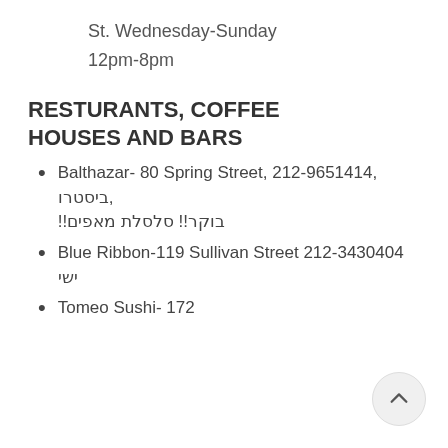St. Wednesday-Sunday
12pm-8pm
RESTURANTS, COFFEE HOUSES AND BARS
Balthazar- 80 Spring Street, 212-9651414, ביסטרו, !!בוקר!! סלסלת מאפים
Blue Ribbon-119 Sullivan Street 212-3430404 ישי
Tomeo Sushi- 172